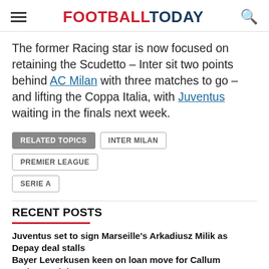FOOTBALLTODAY
The former Racing star is now focused on retaining the Scudetto – Inter sit two points behind AC Milan with three matches to go – and lifting the Coppa Italia, with Juventus waiting in the finals next week.
RELATED TOPICS  INTER MILAN  PREMIER LEAGUE  SERIE A
RECENT POSTS
Juventus set to sign Marseille's Arkadiusz Milik as Depay deal stalls
Bayer Leverkusen keen on loan move for Callum Hudson-Odoi
Everton plot move to hijack Newcastle United deal for